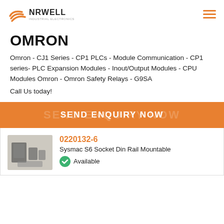NRWELL
OMRON
Omron - CJ1 Series - CP1 PLCs - Module Communication - CP1 series- PLC Expansion Modules - Inout/Output Modules - CPU Modules Omron - Omron Safety Relays - G9SA
Call Us today!
SEND ENQUIRY NOW
[Figure (photo): Product photo showing Omron PLC and related components]
0220132-6
Sysmac S6 Socket Din Rail Mountable
Available